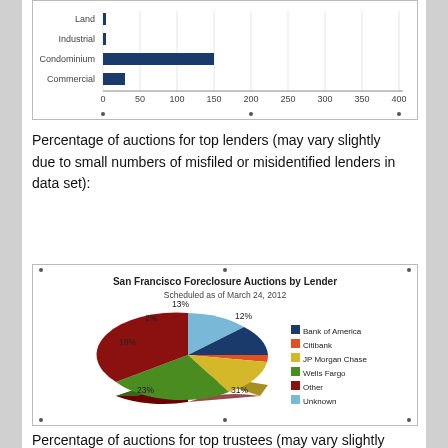[Figure (bar-chart): San Francisco Foreclosures by Property Type (partial)]
Percentage of auctions for top lenders (may vary slightly due to small numbers of misfiled or misidentified lenders in data set):
[Figure (pie-chart): San Francisco Foreclosure Auctions by Lender]
Percentage of auctions for top trustees (may vary slightly